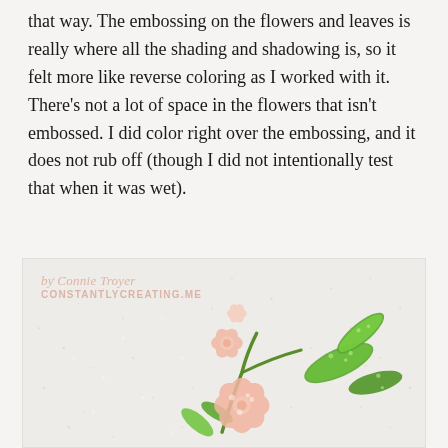that way. The embossing on the flowers and leaves is really where all the shading and shadowing is, so it felt more like reverse coloring as I worked with it. There's not a lot of space in the flowers that isn't embossed. I did color right over the embossing, and it does not rub off (though I did not intentionally test that when it was wet).
[Figure (photo): Close-up photo of an embossed flower card with pink flowers and green glittery leaves on a light speckled background. Watermark reads 'by Connie Troyer / CONSTANTLYCREATING.ME']